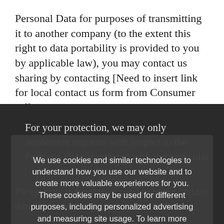Personal Data for purposes of transmitting it to another company (to the extent this right to data portability is provided to you by applicable law), you may contact us sharing by contacting [Need to insert link for local contact us form from Consumer Affairs, English link is currently hyperlinked] Consumer Affairs. We will respond to your request consistent with applicable law. [*]
For your protection, we may only implement requests with respect to the Personal Data associated with the particular email address that you use to send us your request, and we may need to verify your identity before implementing your request. We will try to comply with your request as soon as reasonably practicable.
We use cookies and similar technologies to understand how you use our website and to create more valuable experiences for you. These cookies may be used for different purposes, including personalized advertising and measuring site usage. To learn more please see our Cookie Policy. You can change your preferences at any time through our Cookie preferences tool.
Please note that we may need to retain certain data for recordkeeping purposes and/or to